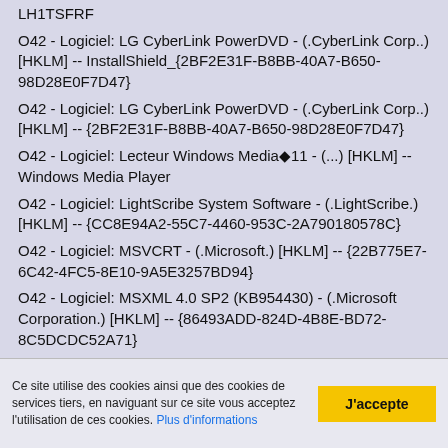LH1TSFRF
O42 - Logiciel: LG CyberLink PowerDVD - (.CyberLink Corp..) [HKLM] -- InstallShield_{2BF2E31F-B8BB-40A7-B650-98D28E0F7D47}
O42 - Logiciel: LG CyberLink PowerDVD - (.CyberLink Corp..) [HKLM] -- {2BF2E31F-B8BB-40A7-B650-98D28E0F7D47}
O42 - Logiciel: Lecteur Windows Media�11 - (...) [HKLM] -- Windows Media Player
O42 - Logiciel: LightScribe System Software - (.LightScribe.) [HKLM] -- {CC8E94A2-55C7-4460-953C-2A790180578C}
O42 - Logiciel: MSVCRT - (.Microsoft.) [HKLM] -- {22B775E7-6C42-4FC5-8E10-9A5E3257BD94}
O42 - Logiciel: MSXML 4.0 SP2 (KB954430) - (.Microsoft Corporation.) [HKLM] -- {86493ADD-824D-4B8E-BD72-8C5DCDC52A71}
O42 - Logiciel: MSXML 4.0 SP2 (KB973688) - (.Microsoft Corporation.) [HKLM] -- {F662A8E6-F4DC-41A2-901E-8C11F044BDEC}
O42 - Logiciel: MSXML 6.0 Parser (KB925673) - (.Microsoft Corporation.) [HKLM] -- {EE9126DB-5E84-495A-BB46
Ce site utilise des cookies ainsi que des cookies de services tiers, en naviguant sur ce site vous acceptez l'utilisation de ces cookies. Plus d'informations